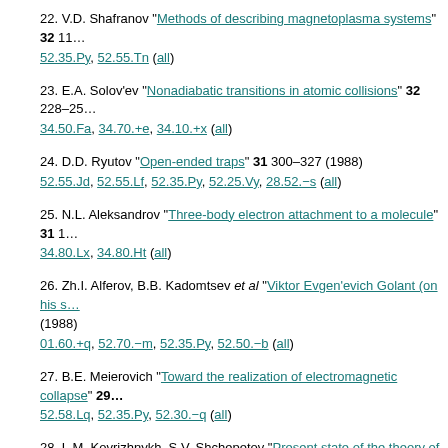22. V.D. Shafranov "Methods of describing magnetoplasma systems" 32 11... 52.35.Py, 52.55.Tn (all)
23. E.A. Solov'ev "Nonadiabatic transitions in atomic collisions" 32 228–25... 34.50.Fa, 34.70.+e, 34.10.+x (all)
24. D.D. Ryutov "Open-ended traps" 31 300–327 (1988) 52.55.Jd, 52.55.Lf, 52.35.Py, 52.25.Vy, 28.52.−s (all)
25. N.L. Aleksandrov "Three-body electron attachment to a molecule" 31 1... 34.80.Lx, 34.80.Ht (all)
26. Zh.I. Alferov, B.B. Kadomtsev et al "Viktor Evgen'evich Golant (on his s... (1988) 01.60.+q, 52.70.−m, 52.35.Py, 52.50.−b (all)
27. B.E. Meierovich "Toward the realization of electromagnetic collapse" 29... 52.58.Lq, 52.35.Py, 52.30.−q (all)
28. L.M. Kovrizhnykh, S.V. Shchepetov "Present state of the theory of the M... stability of stellarator plasmas" 29 343–363 (1986) 52.35.Py, 52.55.Hc, 52.25.Fi (all)
29. S.P. Kapitsa, A.B. Kurepin "International seminar on semiclassical desc... nuclear collisions (Held at the Niels Bohr Institute, Copenhagen, 24-31... (1986) 01.10.Fv, 34.10.+x, 34.70.+e, 25.70.Hi, 24.50.+g (all)
30. A.V. Eletskii, B.M. Smirnov "Dissociative attachment of an electron to a... (1985) 34.80.Ht, 31.15.Gy (all)